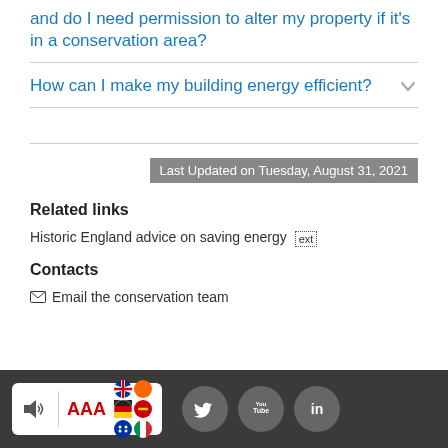and do I need permission to alter my property if it's in a conservation area?
How can I make my building energy efficient?
Last Updated on Tuesday, August 31, 2021
Related links
Historic England advice on saving energy ext
Contacts
Email the conservation team
AAA accessibility widget, Twitter, YouTube, LinkedIn social icons